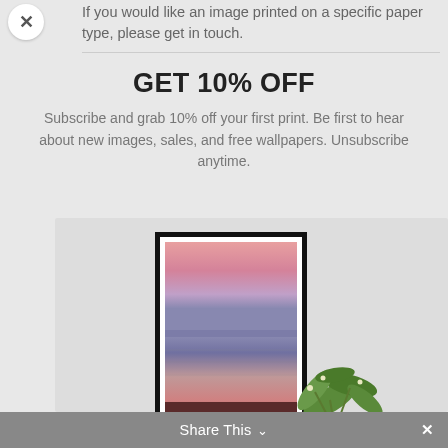If you would like an image printed on a specific paper type, please get in touch.
GET 10% OFF
Subscribe and grab 10% off your first print. Be first to hear about new images, sales, and free wallpapers. Unsubscribe anytime.
[Figure (photo): A framed art print showing a serene seascape with pink and purple gradient sky and calm water, displayed with a plant beside it on a shelf.]
Share This ∨  ×